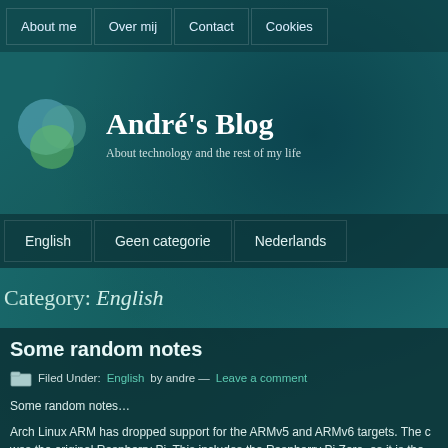About me | Over mij | Contact | Cookies
André's Blog
About technology and the rest of my life
English | Geen categorie | Nederlands
Category: English
Some random notes
Filed Under: English by andre — Leave a comment
Some random notes…
Arch Linux ARM has dropped support for the ARMv5 and ARMv6 targets. The c was the original Raspberry Pi. This includes the Raspberry Pi Zero, as it is the